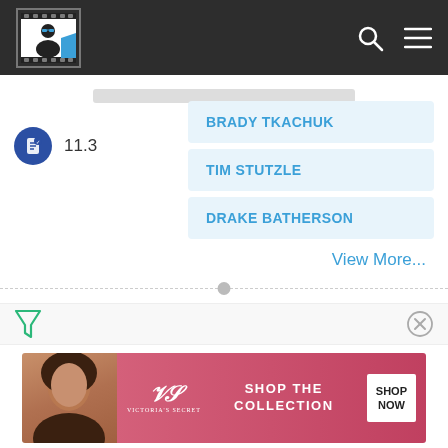[Figure (screenshot): Website header with dark background, logo on left, search and menu icons on right]
BRADY TKACHUK
TIM STUTZLE
DRAKE BATHERSON
11.3
View More...
[Figure (screenshot): Filter icon (triangle/funnel) on left and X close icon on right in a toolbar]
[Figure (photo): Victoria's Secret advertisement banner showing a model with curly hair, VS logo, text SHOP THE COLLECTION, and SHOP NOW button]